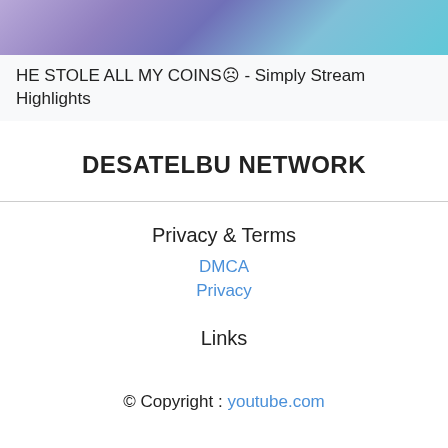[Figure (photo): Thumbnail image showing people, with purple and teal color tones]
HE STOLE ALL MY COINS☹ - Simply Stream Highlights
DESATELBU NETWORK
Privacy & Terms
DMCA
Privacy
Links
© Copyright : youtube.com